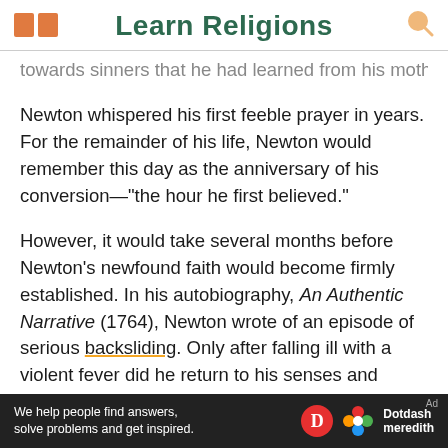Learn Religions
towards sinners that he had learned from his mother, Newton whispered his first feeble prayer in years. For the remainder of his life, Newton would remember this day as the anniversary of his conversion—"the hour he first believed."
However, it would take several months before Newton's newfound faith would become firmly established. In his autobiography, An Authentic Narrative (1764), Newton wrote of an episode of serious backsliding. Only after falling ill with a violent fever did he return to his senses and surrender wholly to God. Newton claimed that from then on, he
[Figure (screenshot): Dotdash Meredith advertisement bar: 'We help people find answers, solve problems and get inspired.' with Dotdash Meredith logo]